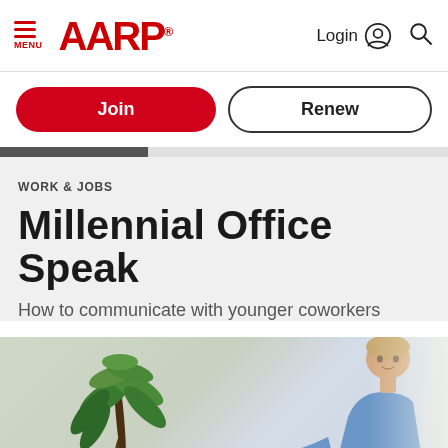AARP — MENU, Login, Search
Join
Renew
WORK & JOBS
Millennial Office Speak
How to communicate with younger coworkers
[Figure (photo): Two people in an office setting, a man in a blue shirt leaning over, with a tropical plant in the background]